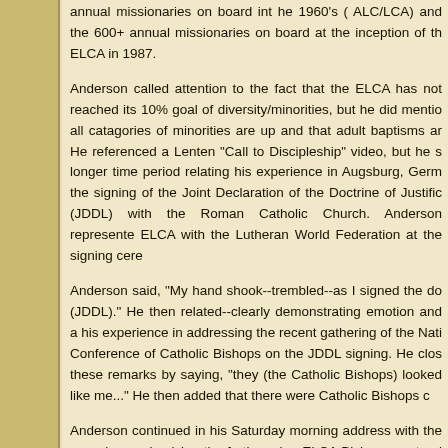annual missionaries on board int he 1960's ( ALC/LCA) and the 600+ annual missionaries on board at the inception of the ELCA in 1987.
Anderson called attention to the fact that the ELCA has not reached its 10% goal of diversity/minorities, but he did mention all catagories of minorities are up and that adult baptisms are. He referenced a Lenten "Call to Discipleship" video, but he spent a longer time period relating his experience in Augsburg, Germany, at the signing of the Joint Declaration of the Doctrine of Justification (JDDL) with the Roman Catholic Church. Anderson represented the ELCA with the Lutheran World Federation at the signing cere...
Anderson said, "My hand shook--trembled--as I signed the document (JDDL)." He then related--clearly demonstrating emotion and a passion-- his experience in addressing the recent gathering of the National Conference of Catholic Bishops on the JDDL signing. He closed these remarks by saying, "they (the Catholic Bishops) looked at me like me..." He then added that there were Catholic Bishops c...
Anderson continued in his Saturday morning address with these remarks emphasizing the forthcoming ELCA Bishops pastoral on poverty. He endorsed debt relief to developing countries.